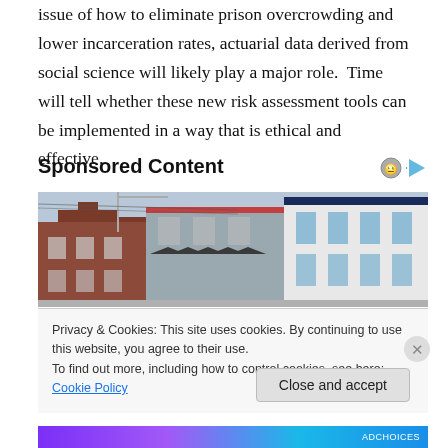issue of how to eliminate prison overcrowding and lower incarceration rates, actuarial data derived from social science will likely play a major role.  Time will tell whether these new risk assessment tools can be implemented in a way that is ethical and effective.
Sponsored Content
[Figure (photo): Street-level photo showing a row of urban commercial buildings with brick facades, awnings, and storefronts]
Privacy & Cookies: This site uses cookies. By continuing to use this website, you agree to their use.
To find out more, including how to control cookies, see here: Cookie Policy
Close and accept